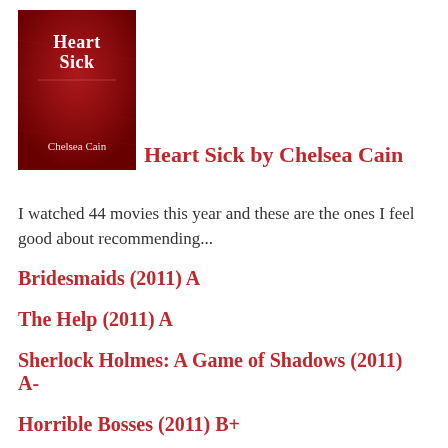[Figure (illustration): Book cover of 'Heart Sick' by Chelsea Cain — red background with white serif title text and author name]
Heart Sick by Chelsea Cain
I watched 44 movies this year and these are the ones I feel good about recommending...
Bridesmaids (2011) A
The Help (2011) A
Sherlock Holmes: A Game of Shadows (2011) A-
Horrible Bosses (2011) B+